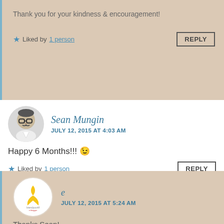Thank you for your kindness & encouragement!
★ Liked by 1 person   REPLY
Sean Mungin
JULY 12, 2015 AT 4:03 AM
Happy 6 Months!!! 😉
★ Liked by 1 person   REPLY
e
JULY 12, 2015 AT 5:24 AM
Thanks Sean!